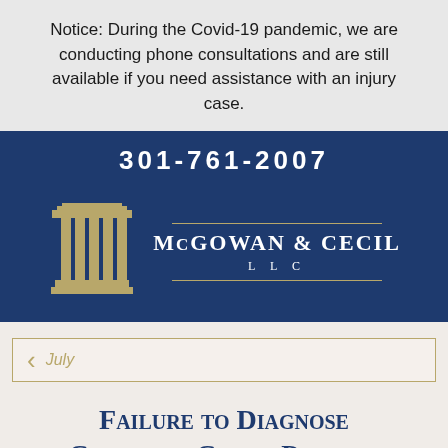Notice: During the Covid-19 pandemic, we are conducting phone consultations and are still available if you need assistance with an injury case.
301-761-2007
[Figure (logo): McGowan & Cecil LLC law firm logo with classical pillar icon and firm name in white text on dark navy background]
July
Failure to Diagnose Cancer in Child, Parents